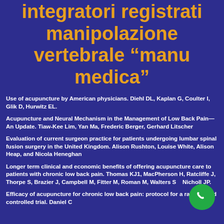integratori registrati manipolazione vertebrale “manu medica”
Use of acupuncture by American physicians. Diehl DL, Kaplan G, Coulter I, Glik D, Hurwitz EL.
Acupuncture and Neural Mechanism in the Management of Low Back Pain—An Update. Tiaw-Kee Lim, Yan Ma, Frederic Berger, Gerhard Litscher
Evaluation of current surgeon practice for patients undergoing lumbar spinal fusion surgery in the United Kingdom. Alison Rushton, Louise White, Alison Heap, and Nicola Heneghan
Longer term clinical and economic benefits of offering acupuncture care to patients with chronic low back pain. Thomas KJ1, MacPherson H, Ratcliffe J, Thorpe S, Brazier J, Campbell M, Fitter M, Roman M, Walters SJ, Nicholl JP.
Efficacy of acupuncture for chronic low back pain: protocol for a randomized controlled trial. Daniel C